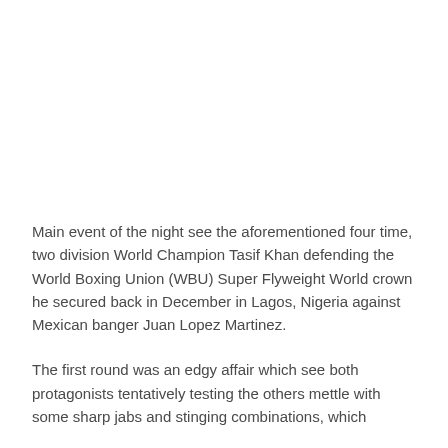Main event of the night see the aforementioned four time, two division World Champion Tasif Khan defending the World Boxing Union (WBU) Super Flyweight World crown he secured back in December in Lagos, Nigeria against Mexican banger Juan Lopez Martinez.
The first round was an edgy affair which see both protagonists tentatively testing the others mettle with some sharp jabs and stinging combinations, which